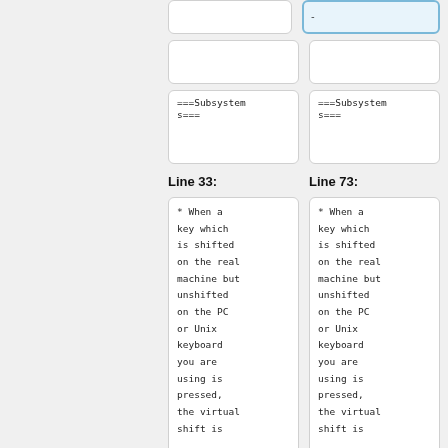===Subsystems===
===Subsystems===
Line 33:
Line 73:
* When a key which is shifted on the real machine but unshifted on the PC or Unix keyboard you are using is pressed, the virtual shift is
* When a key which is shifted on the real machine but unshifted on the PC or Unix keyboard you are using is pressed, the virtual shift is